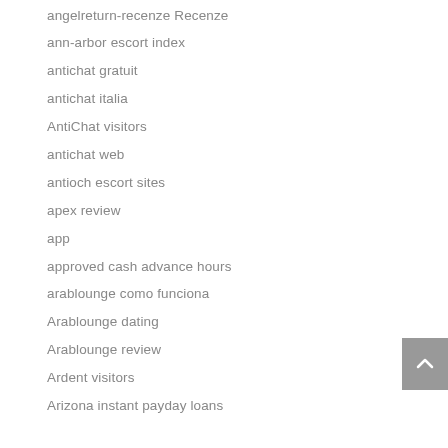angelreturn-recenze Recenze
ann-arbor escort index
antichat gratuit
antichat italia
AntiChat visitors
antichat web
antioch escort sites
apex review
app
approved cash advance hours
arablounge como funciona
Arablounge dating
Arablounge review
Ardent visitors
Arizona instant payday loans